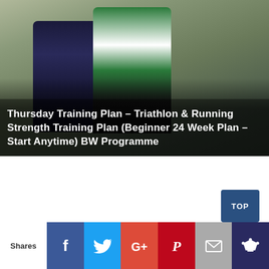[Figure (photo): Two triathletes running side by side. The left runner wears a dark navy triathlon suit with goggles on head and the text 'TRIATLO' and 'JADEIA' visible. The right runner wears a green and white striped vest with 'HUUB' branding on shorts. Background shows a stone wall and outdoor setting. A coaching brand logo is partially visible on the right edge.]
Thursday Training Plan – Triathlon & Running Strength Training Plan (Beginner 24 Week Plan – Start Anytime) BW Programme
Shares